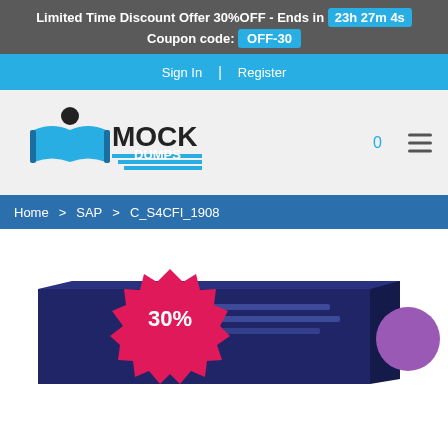Limited Time Discount Offer 30%OFF - Ends in 23h 27m 4s  Coupon code: OFF-30
Sign In  |  Register
[Figure (logo): MockDumps logo with a person holding an open book and horizontal blue lines below MOCK DUMPS text]
0
≡ (hamburger menu icon)
Home > SAP > C_S4CFI_1908
[Figure (photo): Product box image with a red starburst badge showing 30% discount and a purple circle icon in the corner]